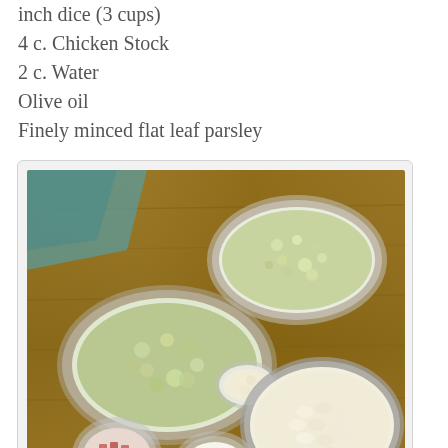inch dice (3 cups)
4 c. Chicken Stock
2 c. Water
Olive oil
Finely minced flat leaf parsley
[Figure (photo): Multiple glass and metal bowls on a wooden cutting board containing chopped vegetables including leeks/celery, garlic, diced pork/pancetta, rice, and white beans.]
Drain and rinse the beans.  Place them in a large saucepan and cover with fresh water by 2 inches.  Bring to a boil.  Lower the heat and skim off the foam that has risen to the surface.  Add a generous drizzle of olive oil, the garlic and thyme.  Cook the beans at a gentle simmer, stirring occasionally, until the beans are tender.  Or, place the soaked, drained beans in a shallow gratin with the garlic and